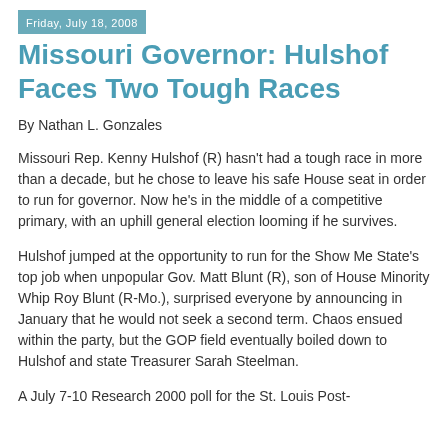Friday, July 18, 2008
Missouri Governor: Hulshof Faces Two Tough Races
By Nathan L. Gonzales
Missouri Rep. Kenny Hulshof (R) hasn't had a tough race in more than a decade, but he chose to leave his safe House seat in order to run for governor. Now he's in the middle of a competitive primary, with an uphill general election looming if he survives.
Hulshof jumped at the opportunity to run for the Show Me State's top job when unpopular Gov. Matt Blunt (R), son of House Minority Whip Roy Blunt (R-Mo.), surprised everyone by announcing in January that he would not seek a second term. Chaos ensued within the party, but the GOP field eventually boiled down to Hulshof and state Treasurer Sarah Steelman.
A July 7-10 Research 2000 poll for the St. Louis Post-